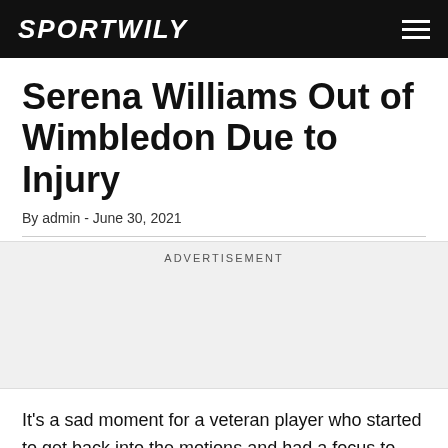SPORTWILY
Serena Williams Out of Wimbledon Due to Injury
By admin - June 30, 2021
ADVERTISEMENT
It's a sad moment for a veteran player who started to get back into the motions and had a focus to compete on that